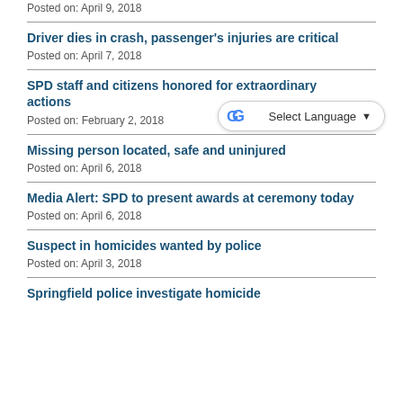Posted on: April 9, 2018
Driver dies in crash, passenger's injuries are critical
Posted on: April 7, 2018
SPD staff and citizens honored for extraordinary actions
Posted on: February 2, 2018
Missing person located, safe and uninjured
Posted on: April 6, 2018
Media Alert: SPD to present awards at ceremony today
Posted on: April 6, 2018
Suspect in homicides wanted by police
Posted on: April 3, 2018
Springfield police investigate homicide